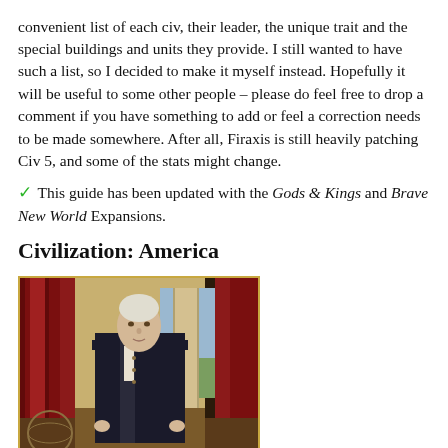convenient list of each civ, their leader, the unique trait and the special buildings and units they provide. I still wanted to have such a list, so I decided to make it myself instead. Hopefully it will be useful to some other people – please do feel free to drop a comment if you have something to add or feel a correction needs to be made somewhere. After all, Firaxis is still heavily patching Civ 5, and some of the stats might change.
✓ This guide has been updated with the Gods & Kings and Brave New World Expansions.
Civilization: America
[Figure (photo): Portrait painting of a historical figure (George Washington) in 18th century attire, standing in a formal pose with red curtains and a column in the background.]